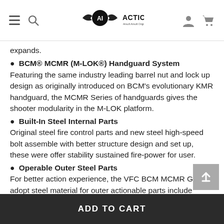ACTION! (logo and navigation)
expands.
• BCM® MCMR (M-LOK®) Handguard System
Featuring the same industry leading barrel nut and lock up design as originally introduced on BCM's evolutionary KMR handguard, the MCMR Series of handguards gives the shooter modularity in the M-LOK platform.
• Built-In Steel Internal Parts
Original steel fire control parts and new steel high-speed bolt assemble with better structure design and set up, these were offer stability sustained fire-power for user.
• Operable Outer Steel Parts
For better action experience, the VFC BCM MCMR GBBR adopt steel material for outer actionable parts include screw of handguard, receiver pins, bolt catch,
ADD TO CART